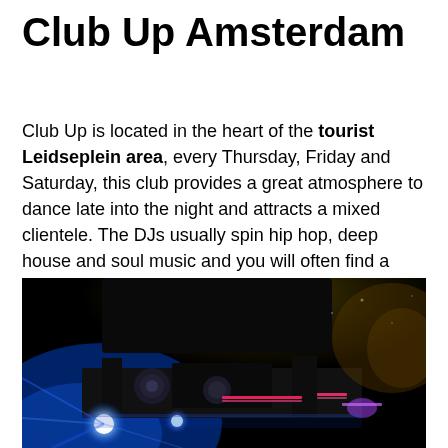Club Up Amsterdam
Club Up is located in the heart of the tourist Leidseplein area, every Thursday, Friday and Saturday, this club provides a great atmosphere to dance late into the night and attracts a mixed clientele. The DJs usually spin hip hop, deep house and soul music and you will often find a crowded dance floor at Club Up.
[Figure (photo): Nightclub interior photo showing DJ equipment and stage lighting with blue and purple lights in a dark club atmosphere.]